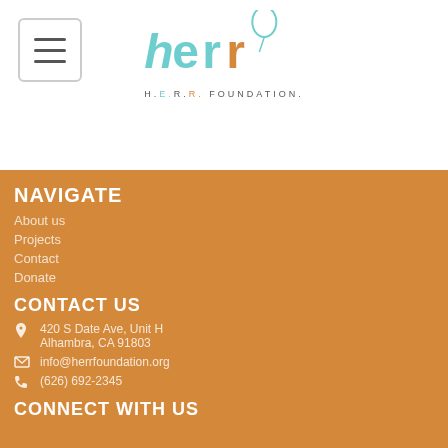[Figure (logo): H.E.R.R. Foundation logo with teal handwritten letters and balloon graphic, with 'H.E.R.R. FOUNDATION' text below]
NAVIGATE
About us
Projects
Contact
Donate
CONTACT US
420 S Date Ave, Unit H Alhambra, CA 91803
info@herrfoundation.org
(626) 692-2345
CONNECT WITH US